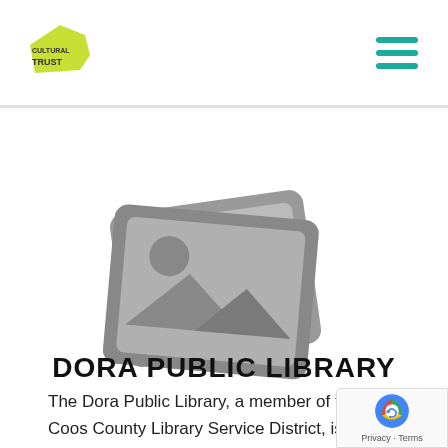Oregon Cultural Trust [logo] [hamburger menu]
[Figure (illustration): Placeholder image icon showing two overlapping photo frames with a mountain landscape and sun symbol, rendered in grey]
DORA PUBLIC LIBRARY
The Dora Public Library, a member of the Coos County Library Service District, is located in an